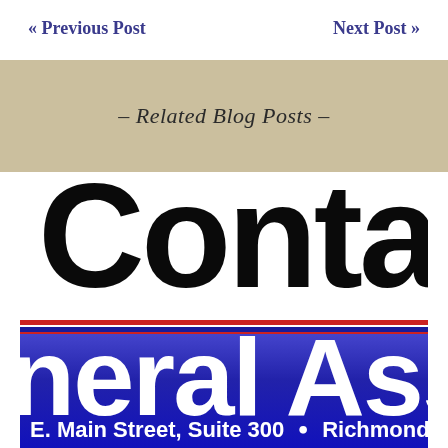« Previous Post     Next Post »
- Related Blog Posts -
[Figure (photo): Cropped image of a 'Contact the General Assembly' banner showing large black text 'Conta' on white background with red/white/blue stripes, and white text 'neral Assem' on blue background, with address 'E. Main Street, Suite 300 • Richmond, V']